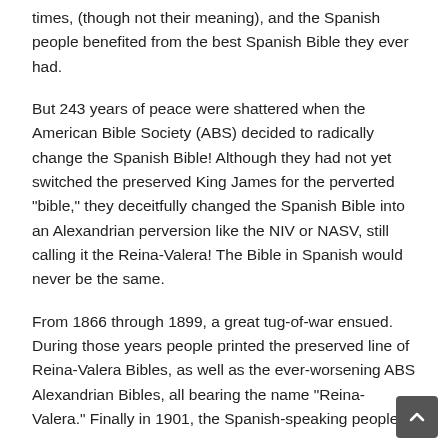times, (though not their meaning), and the Spanish people benefited from the best Spanish Bible they ever had.
But 243 years of peace were shattered when the American Bible Society (ABS) decided to radically change the Spanish Bible! Although they had not yet switched the preserved King James for the perverted "bible," they deceitfully changed the Spanish Bible into an Alexandrian perversion like the NIV or NASV, still calling it the Reina-Valera! The Bible in Spanish would never be the same.
From 1866 through 1899, a great tug-of-war ensued. During those years people printed the preserved line of Reina-Valera Bibles, as well as the ever-worsening ABS Alexandrian Bibles, all bearing the name "Reina-Valera." Finally in 1901, the Spanish-speaking people